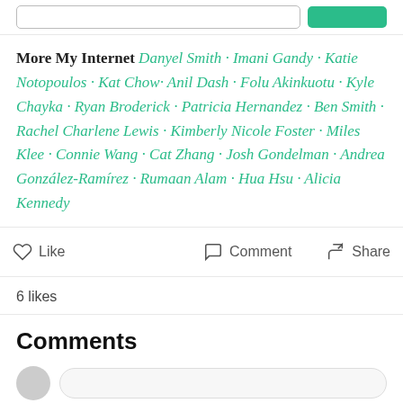[Figure (screenshot): Top bar with a search/input field and a teal button]
More My Internet Danyel Smith · Imani Gandy · Katie Notopoulos · Kat Chow· Anil Dash · Folu Akinkuotu · Kyle Chayka · Ryan Broderick · Patricia Hernandez · Ben Smith · Rachel Charlene Lewis · Kimberly Nicole Foster · Miles Klee · Connie Wang · Cat Zhang · Josh Gondelman · Andrea González-Ramírez · Rumaan Alam · Hua Hsu · Alicia Kennedy
Like   Comment   Share
6 likes
Comments